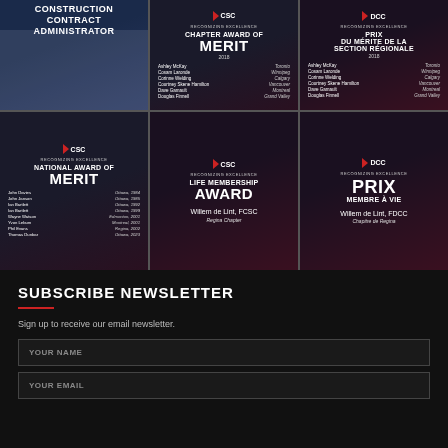[Figure (infographic): Grid of 6 award cards. Top row: Construction Contract Administrator card (blue), Chapter Award of Merit 2018 (dark red/blue), Prix du Mérite de la Section Régionale 2018 (dark). Bottom row: National Award of Merit (dark blue/red), Life Membership Award - Willem de Lint FCSC Regina Chapter (dark red), Prix Membre à Vie - Willem de Lint FDCC Chapitre de Regina (dark red)]
SUBSCRIBE NEWSLETTER
Sign up to receive our email newsletter.
YOUR NAME
YOUR EMAIL